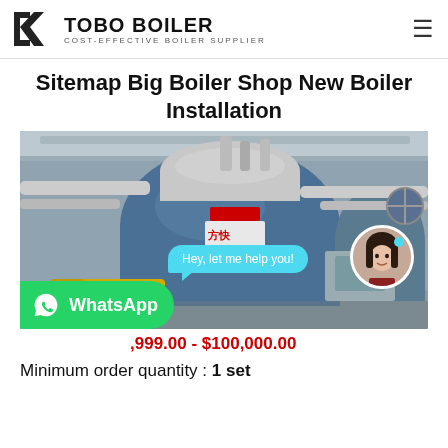TOBO BOILER — COST-EFFECTIVE BOILER SUPPLIER
Sitemap Big Boiler Shop New Boiler Installation
[Figure (photo): Industrial boiler installation inside a factory, showing large blue cylindrical boilers with Chinese text '方快', pipes, and control panels. Includes a chat bubble saying 'Hey, let me help you!', an avatar of a woman, and a WhatsApp banner at the bottom.]
999.00 - $100,000.00
Minimum order quantity : 1 set